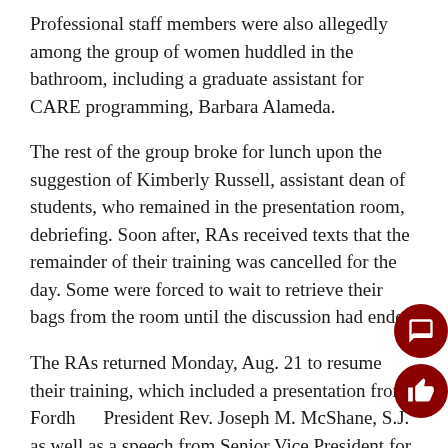Professional staff members were also allegedly among the group of women huddled in the bathroom, including a graduate assistant for CARE programming, Barbara Alameda.
The rest of the group broke for lunch upon the suggestion of Kimberly Russell, assistant dean of students, who remained in the presentation room, debriefing. Soon after, RAs received texts that the remainder of their training was cancelled for the day. Some were forced to wait to retrieve their bags from the room until the discussion had ended.
The RAs returned Monday, Aug. 21 to resume their training, which included a presentation from Fordham President Rev. Joseph M. McShane, S.J. as well as a speech from Senior Vice President for Student Affairs Jeffrey L. Gray.